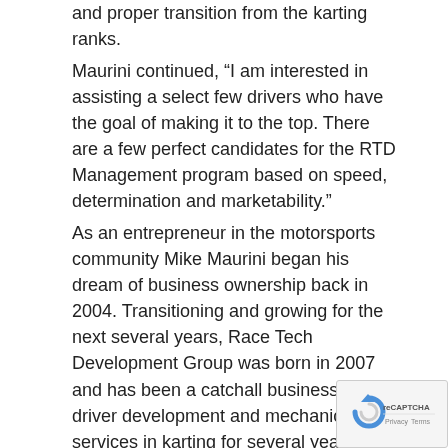and proper transition from the karting ranks.
Maurini continued, “I am interested in assisting a select few drivers who have the goal of making it to the top. There are a few perfect candidates for the RTD Management program based on speed, determination and marketability.”
As an entrepreneur in the motorsports community Mike Maurini began his dream of business ownership back in 2004. Transitioning and growing for the next several years, Race Tech Development Group was born in 2007 and has been a catchall business for driver development and mechanic services in karting for several years. Utilizing his Business Marketing education, Race Tech Development quickly began to grow to provide media services for several teams and drivers in all forms of motorsports. Most recently, RTD Autosport was formed under the Race Tech Development Group banner and will enter the 2016 Red Bull Global Rallycross Lites division in conjunction with SH
[Figure (logo): reCAPTCHA badge with Privacy and Terms text]